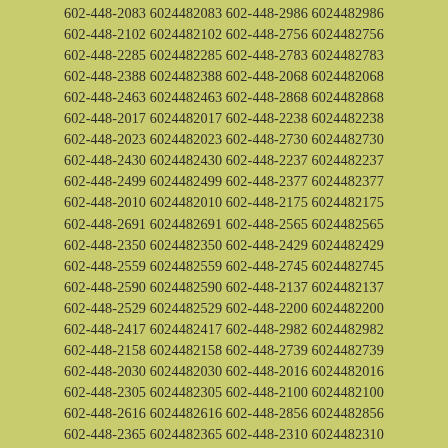602-448-2809 6024482809 602-448-2817 6024482817
602-448-2754 6024482754 602-448-2427 6024482427
602-448-2083 6024482083 602-448-2986 6024482986
602-448-2102 6024482102 602-448-2756 6024482756
602-448-2285 6024482285 602-448-2783 6024482783
602-448-2388 6024482388 602-448-2068 6024482068
602-448-2463 6024482463 602-448-2868 6024482868
602-448-2017 6024482017 602-448-2238 6024482238
602-448-2023 6024482023 602-448-2730 6024482730
602-448-2430 6024482430 602-448-2237 6024482237
602-448-2499 6024482499 602-448-2377 6024482377
602-448-2010 6024482010 602-448-2175 6024482175
602-448-2691 6024482691 602-448-2565 6024482565
602-448-2350 6024482350 602-448-2429 6024482429
602-448-2559 6024482559 602-448-2745 6024482745
602-448-2590 6024482590 602-448-2137 6024482137
602-448-2529 6024482529 602-448-2200 6024482200
602-448-2417 6024482417 602-448-2982 6024482982
602-448-2158 6024482158 602-448-2739 6024482739
602-448-2030 6024482030 602-448-2016 6024482016
602-448-2305 6024482305 602-448-2100 6024482100
602-448-2616 6024482616 602-448-2856 6024482856
602-448-2365 6024482365 602-448-2310 6024482310
602-448-2358 6024482358 602-448-2897 6024482897
602-448-2831 6024482831 602-448-2636 6024482636